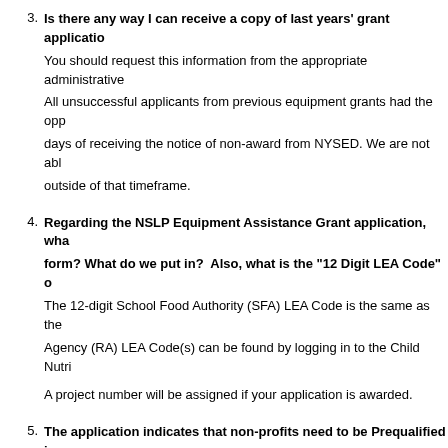3. Is there any way I can receive a copy of last years' grant application? You should request this information from the appropriate administrative All unsuccessful applicants from previous equipment grants had the opportunity to request a copy within 30 days of receiving the notice of non-award from NYSED. We are not able to fulfill requests outside of that timeframe.
4. Regarding the NSLP Equipment Assistance Grant application, what is the 'Project Number' on the form? What do we put in? Also, what is the '12 Digit LEA Code' on the form? The 12-digit School Food Authority (SFA) LEA Code is the same as the Reporting Agency (RA) LEA Code(s) can be found by logging in to the Child Nutrition... A project number will be assigned if your application is awarded.
5. The application indicates that non-profits need to be Prequalified in the Grants Gateway account. Is there anything else that needs to happen to be ready to apply? A description of the Prequalification process and requirements are cont...
6. As a public-school district, would we need to be prequalified in the Grants Gateway and submit documents before we could do the application for this grant? No, public school districts do not have to pre-qualify.